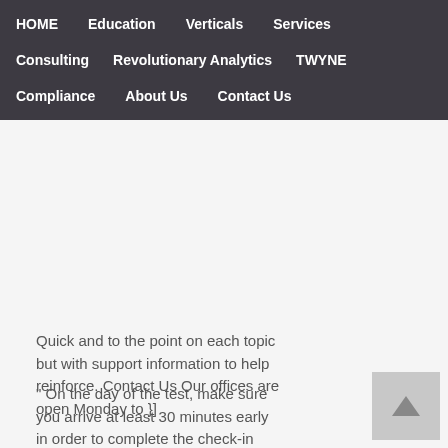HOME   Education   Verticals   Services   Consulting   Revolutionary Analytics   TWYNE   Compliance   About Us   Contact Us
Quick and to the point on each topic but with support information to help reinforce. Contact Us Our offices are open Monday to }]
" On the day of the test, make sure you arrive at least 30 minutes early in order to complete the check-in process.
Upgrade your studying with our Pediatric Nurse study guide and flashcards: Pediatric Nurse Study Guide Pediatric Nurse Flashcards. } Becoming a CRNI® exemplifies a commitment to excellence. I used the downloaded version. Your purchase also helps us make even more great, free test content for